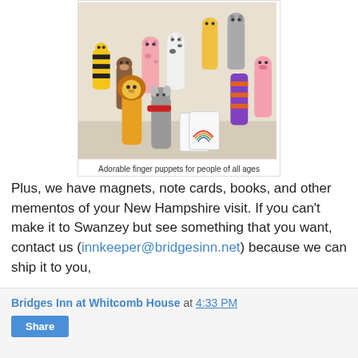[Figure (photo): Collection of knitted/crocheted animal finger puppets displayed on a light-colored surface, including a lion, mouse, cow, and other animals, along with some small cards featuring rainbow designs.]
Adorable finger puppets for people of all ages
Plus, we have magnets, note cards, books, and other mementos of your New Hampshire visit. If you can't make it to Swanzey but see something that you want, contact us (innkeeper@bridgesinn.net) because we can ship it to you,
Bridges Inn at Whitcomb House at 4:33 PM
Share